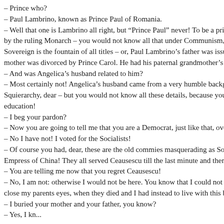– Prince who?
– Paul Lambrino, known as Prince Paul of Romania.
– Well that one is Lambrino all right, but “Prince Paul” never! To be a prince of
by the ruling Monarch – you would not know all that under Communism, but th
Sovereign is the fountain of all titles – or, Paul Lambrino’s father was issued rea
mother was divorced by Prince Carol. He had his paternal grandmother’s maide
– And was Angelica’s husband related to him?
– Most certainly not! Angelica’s husband came from a very humble background
Squierarchy, dear – but you would not know all these details, because you grew
education!
– I beg your pardon?
– Now you are going to tell me that you are a Democrat, just like that, overnight
– No I have not! I voted for the Socialists!
– Of course you had, dear, these are the old commies masquerading as Socialists
Empress of China! They all served Ceausescu till the last minute and then they b
– You are telling me now that you regret Ceausescu!
– No, I am not: otherwise I would not be here. You know that I could not return
close my parents eyes, when they died and I had instead to live with this burden
– I buried your mother and your father, you know?
– Yes, I kn...